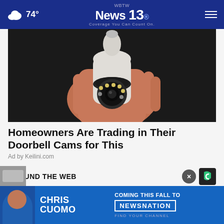74° WBTW News 13 Coverage You Can Count On.
[Figure (photo): A hand holding a white bullet-shaped security camera device with LED lights around the lens, against a dark background.]
Homeowners Are Trading in Their Doorbell Cams for This
Ad by Keilini.com
AROUND THE WEB
[Figure (photo): Bottom advertisement banner: Chris Cuomo Coming This Fall to NewsNation Find Your Channel, with photo of Chris Cuomo.]
[Figure (photo): Partially visible thumbnail image at bottom of page.]